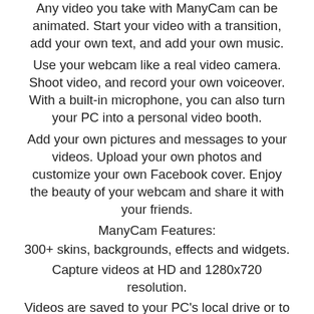Any video you take with ManyCam can be animated. Start your video with a transition, add your own text, and add your own music.
Use your webcam like a real video camera. Shoot video, and record your own voiceover. With a built-in microphone, you can also turn your PC into a personal video booth.
Add your own pictures and messages to your videos. Upload your own photos and customize your own Facebook cover. Enjoy the beauty of your webcam and share it with your friends.
ManyCam Features:
300+ skins, backgrounds, effects and widgets.
Capture videos at HD and 1280x720 resolution.
Videos are saved to your PC's local drive or to Facebook.
Record voiceover and take snapshots.